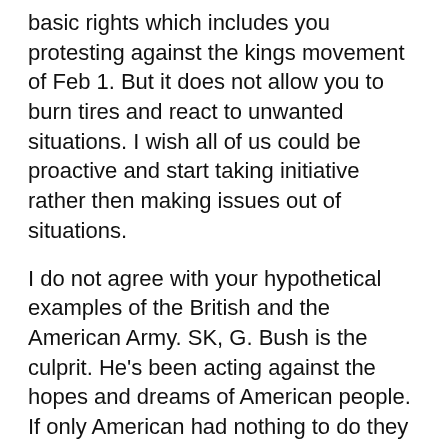basic rights which includes you protesting against the kings movement of Feb 1. But it does not allow you to burn tires and react to unwanted situations. I wish all of us could be proactive and start taking initiative rather then making issues out of situations.
I do not agree with your hypothetical examples of the British and the American Army. SK, G. Bush is the culprit. He's been acting against the hopes and dreams of American people. If only American had nothing to do they would all me on the streets protesting against the government like you do at Asan.
This is Nepal and NA will be exactly like its people “Bhedas”. Too bad, too sad, but its true.
Again Regarding your following comment,
“if we have an army that practices democracy and understands the importance of democracy in society